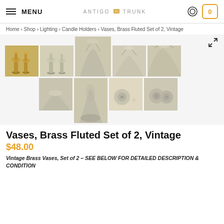MENU | ANTIGO TRUNK | account | 0
Home › Shop › Lighting › Candle Holders › Vases, Brass Fluted Set of 2, Vintage
[Figure (photo): Product photo gallery showing 9 thumbnail images of vintage brass fluted vases from various angles. The center top image is enlarged. Images show pairs of small brass vases with fluted tops, close-up details of the fluted rim, base, and bottom markings.]
Vases, Brass Fluted Set of 2, Vintage
$48.00
Vintage Brass Vases, Set of 2 – SEE BELOW FOR DETAILED DESCRIPTION & CONDITION